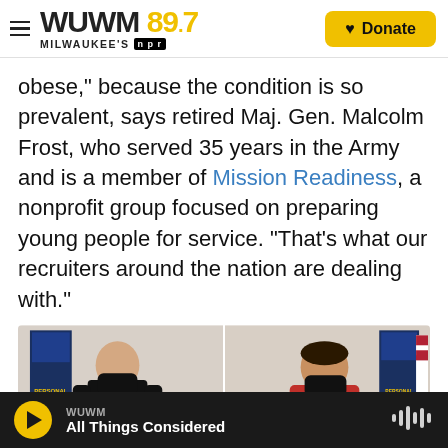WUWM 89.7 Milwaukee's NPR — Donate
obese," because the condition is so prevalent, says retired Maj. Gen. Malcolm Frost, who served 35 years in the Army and is a member of Mission Readiness, a nonprofit group focused on preparing young people for service. "That's what our recruiters around the nation are dealing with."
[Figure (photo): Two people wearing masks inside an Army recruitment office. Left photo: person in black ARMY t-shirt standing next to a counter. Right photo: person in red shirt standing in front of Army recruitment banners.]
WUWM — All Things Considered